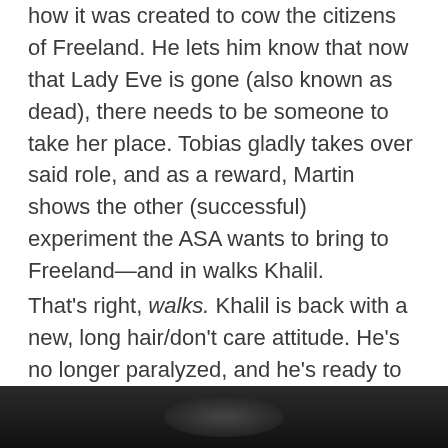how it was created to cow the citizens of Freeland. He lets him know that now that Lady Eve is gone (also known as dead), there needs to be someone to take her place. Tobias gladly takes over said role, and as a reward, Martin shows the other (successful) experiment the ASA wants to bring to Freeland—and in walks Khalil.
That's right, walks. Khalil is back with a new, long hair/don't care attitude. He's no longer paralyzed, and he's ready to do whatever it takes to keep his new masters content.
[Figure (photo): Partial view of a dark scene, likely a still from a TV show, visible at the bottom of the page.]